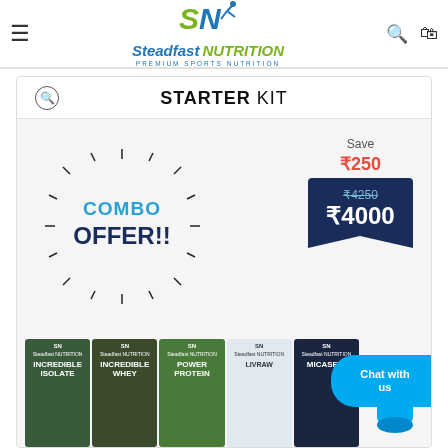[Figure (logo): Steadfast Nutrition logo with SN icon and 'PREMIUM SPORTS NUTRITION' tagline]
[Figure (screenshot): Starter Kit product page showing COMBO OFFER!! burst graphic, Save ₹250 badge, original price ₹4250 crossed out, new price ₹4000 in dark blue ribbon, and product pouches: Incredible Isolate, Incredible Whey, Power Protein, Livraw, Micasein, plus a shaker bottle and Chat with us button]